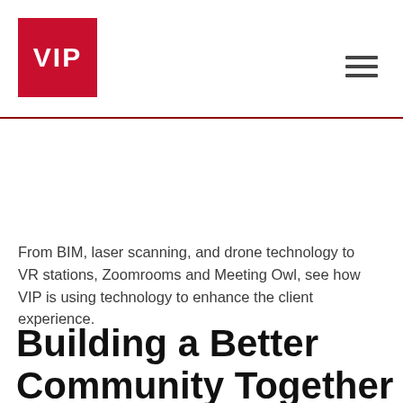VIP
From BIM, laser scanning, and drone technology to VR stations, Zoomrooms and Meeting Owl, see how VIP is using technology to enhance the client experience.
Building a Better Community Together